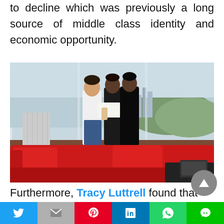to decline which was previously a long source of middle class identity and economic opportunity.
[Figure (photo): Three people (two men and a woman) standing in a modern apartment with large windows and city views, examining a document. Red sofas in the foreground with a dark coffee table.]
Furthermore, Tracy Luttrell found that when adults do agree to the deed, the
Twitter | Gmail | Pinterest | LinkedIn | WhatsApp | LINE